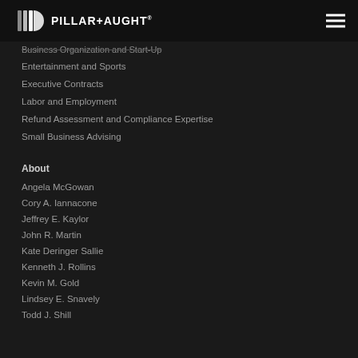PILLAR+AUGHT
Business Organization and Start-Up
Entertainment and Sports
Executive Contracts
Labor and Employment
Refund Assessment and Compliance Expertise
Small Business Advising
About
Angela McGowan
Cory A. Iannacone
Jeffrey E. Kaylor
John R. Martin
Kate Deringer Sallie
Kenneth J. Rollins
Kevin M. Gold
Lindsey E. Snavely
Todd J. Shill